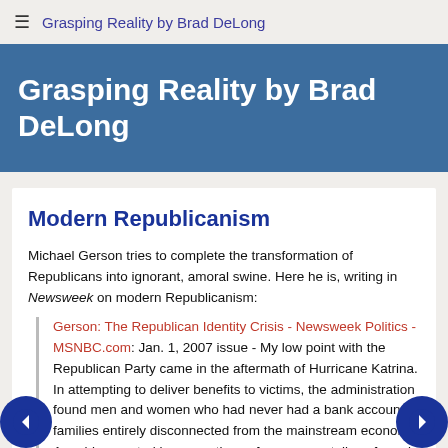≡ Grasping Reality by Brad DeLong
Grasping Reality by Brad DeLong
Modern Republicanism
Michael Gerson tries to complete the transformation of Republicans into ignorant, amoral swine. Here he is, writing in Newsweek on modern Republicanism:
Gerson: The Republican Identity Crisis - Newsweek Politics - MSNBC.com: Jan. 1, 2007 issue - My low point with the Republican Party came in the aftermath of Hurricane Katrina. In attempting to deliver benefits to victims, the administration found men and women who had never had a bank account; families entirely disconnected from the mainstream economy. A problem rooted in generations of governmentally enforced